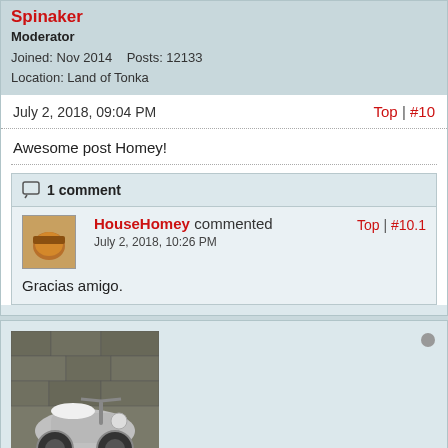Spinaker
Moderator
Joined: Nov 2014    Posts: 12133
Location: Land of Tonka
July 2, 2018, 09:04 PM
Top | #10
Awesome post Homey!
1 comment
HouseHomey commented
July 2, 2018, 10:26 PM
Top | #10.1
Gracias amigo.
[Figure (photo): Avatar photo of a motorcycle or scooter outdoors]